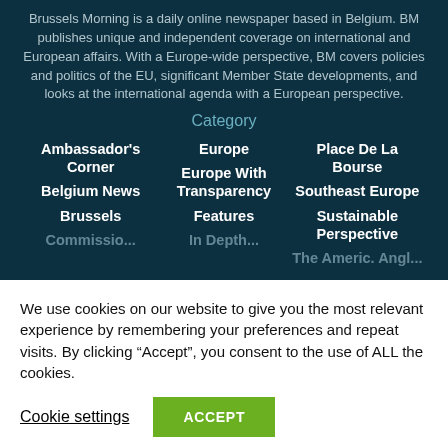Brussels Morning is a daily online newspaper based in Belgium. BM publishes unique and independent coverage on international and European affairs. With a Europe-wide perspective, BM covers policies and politics of the EU, significant Member State developments, and looks at the international agenda with a European perspective.
Category
Ambassador's Corner
Europe
Place De La Bourse
Belgium News
Europe With Transparency
Southeast Europe
Brussels
Features
Sustainable Perspective
We use cookies on our website to give you the most relevant experience by remembering your preferences and repeat visits. By clicking “Accept”, you consent to the use of ALL the cookies.
Cookie settings
ACCEPT